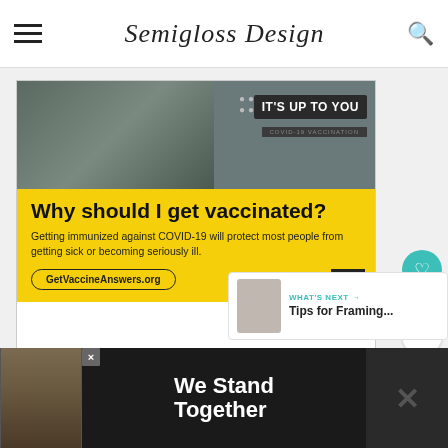Semigloss Design
[Figure (screenshot): COVID-19 vaccination advertisement. Top half shows a bearded man in a dark setting with text 'IT'S UP TO YOU COVID-19 VACCINATION'. Bottom half is yellow with text: 'Why should I get vaccinated? Getting immunized against COVID-19 will protect most people from getting sick or becoming seriously ill. GetVaccineAnswers.org' with ad council logo.]
431
WHAT'S NEXT → Tips for Framing...
[Figure (screenshot): Bottom advertisement banner with dark background showing 'We Stand Together' with a group photo on the left and X mark on right. Close button visible.]